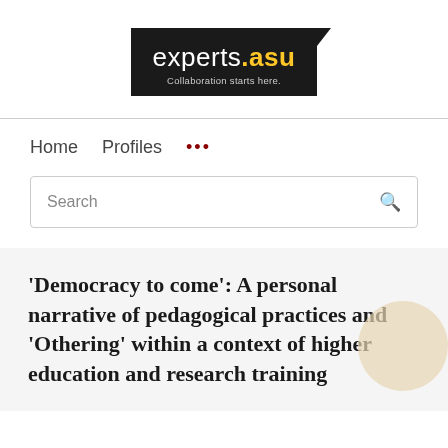[Figure (logo): experts.asu logo with black background and yellow '.asu' text, subtitle 'Collaboration starts here.']
Home   Profiles   ...
Search
'Democracy to come': A personal narrative of pedagogical practices and 'Othering' within a context of higher education and research training